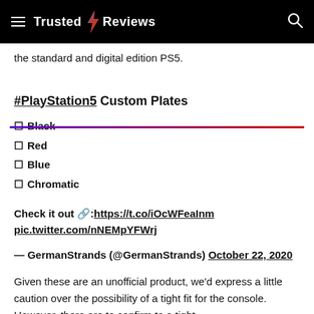Trusted Reviews
the standard and digital edition PS5.
#PlayStation5 Custom Plates
□ Black
□ Red
□ Blue
□ Chromatic
Check it out 🔗: https://t.co/iOcWFeaInm pic.twitter.com/nNEMpYFWrj
— GermanStrands (@GermanStrands) October 22, 2020
Given these are an unofficial product, we'd express a little caution over the possibility of a tight fit for the console. However, there are to confirm to a tight...